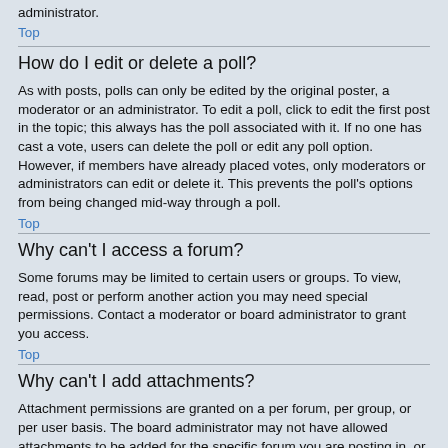administrator.
Top
How do I edit or delete a poll?
As with posts, polls can only be edited by the original poster, a moderator or an administrator. To edit a poll, click to edit the first post in the topic; this always has the poll associated with it. If no one has cast a vote, users can delete the poll or edit any poll option. However, if members have already placed votes, only moderators or administrators can edit or delete it. This prevents the poll's options from being changed mid-way through a poll.
Top
Why can't I access a forum?
Some forums may be limited to certain users or groups. To view, read, post or perform another action you may need special permissions. Contact a moderator or board administrator to grant you access.
Top
Why can't I add attachments?
Attachment permissions are granted on a per forum, per group, or per user basis. The board administrator may not have allowed attachments to be added for the specific forum you are posting in, or perhaps only certain groups can post attachments. Contact the board administrator if you are unsure about why you are unable to add attachments.
Top
Why did I receive a warning?
Each board administrator has their own set of rules for their site. If you have